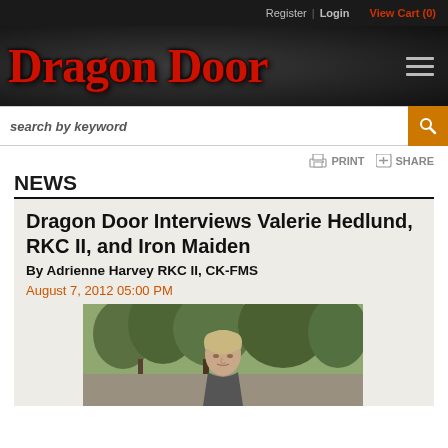Register | Login   View Cart (0)
Dragon Door
search by keyword
PRINT   SHARE
NEWS
Dragon Door Interviews Valerie Hedlund, RKC II, and Iron Maiden
By Adrienne Harvey RKC II, CK-FMS
August 7, 2012 05:00 PM
[Figure (photo): Photo of Valerie Hedlund outdoors among trees, looking to the side]